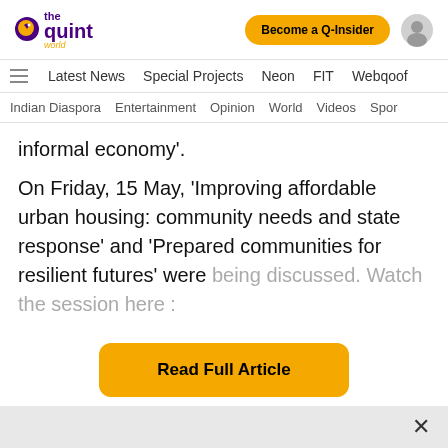the quint world — Become a Q-Insider
Latest News | Special Projects | Neon | FIT | Webqoof
Indian Diaspora | Entertainment | Opinion | World | Videos | Spor
informal economy'.
On Friday, 15 May, 'Improving affordable urban housing: community needs and state response' and 'Prepared communities for resilient futures' were being discussed. Watch the session here :
Read Full Article